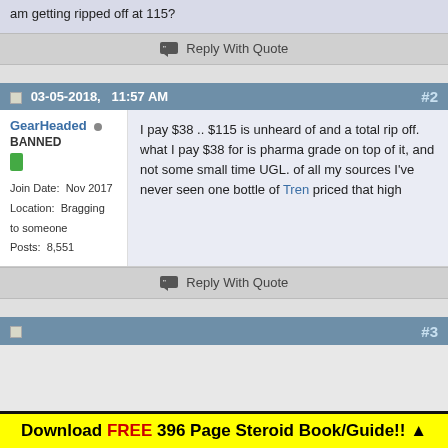am getting ripped off at 115?
Reply With Quote
03-05-2018, 11:57 AM  #2
GearHeaded  BANNED
Join Date: Nov 2017
Location: Bragging to someone
Posts: 8,551
I pay $38 .. $115 is unheard of and a total rip off. what I pay $38 for is pharma grade on top of it, and not some small time UGL. of all my sources I've never seen one bottle of Tren priced that high
Reply With Quote
Download FREE 396 Page Steroid Book/Guide!! ▲